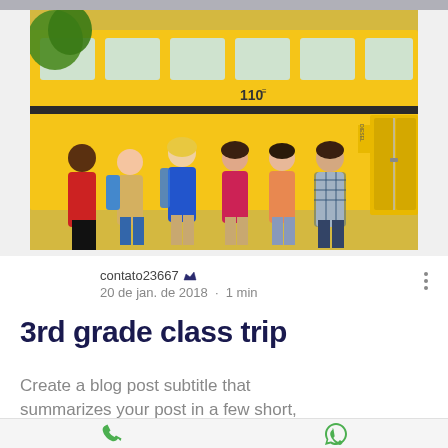[Figure (photo): Six elementary school children standing in front of a yellow school bus numbered 110, smiling and posing together.]
contato23667 👑
20 de jan. de 2018 · 1 min
3rd grade class trip
Create a blog post subtitle that summarizes your post in a few short,